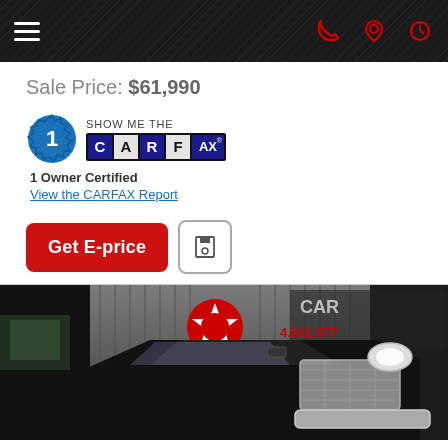Navigation bar with hamburger menu and icons
Sale Price: $61,990
[Figure (logo): CARFAX 1 Owner Certified badge with gear logo, SHOW ME THE CARFAX text, and 1 Owner Certified label]
1 Owner Certified
View the CARFAX Report
Get E-price
[Figure (photo): Black Ram pickup truck photographed inside a dealership garage with Texaco star logo visible on wall and dealership phone number signage in background]